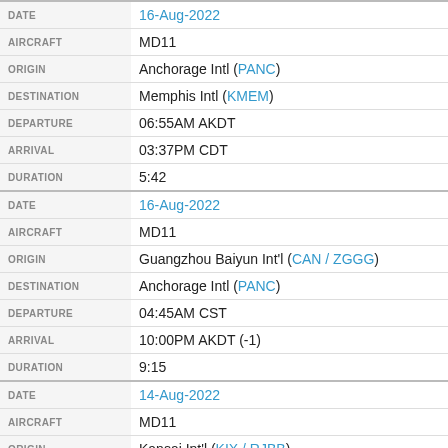| Field | Value |
| --- | --- |
| DATE | 16-Aug-2022 |
| AIRCRAFT | MD11 |
| ORIGIN | Anchorage Intl (PANC) |
| DESTINATION | Memphis Intl (KMEM) |
| DEPARTURE | 06:55AM AKDT |
| ARRIVAL | 03:37PM CDT |
| DURATION | 5:42 |
| DATE | 16-Aug-2022 |
| AIRCRAFT | MD11 |
| ORIGIN | Guangzhou Baiyun Int'l (CAN / ZGGG) |
| DESTINATION | Anchorage Intl (PANC) |
| DEPARTURE | 04:45AM CST |
| ARRIVAL | 10:00PM AKDT (-1) |
| DURATION | 9:15 |
| DATE | 14-Aug-2022 |
| AIRCRAFT | MD11 |
| ORIGIN | Kansai Int'l (KIX / RJBB) |
| DESTINATION | Near Ji'an, Jiangxi |
| DEPARTURE | 11:00PM JST |
| ARRIVAL | Last seen 12:16AM CST (+1) |